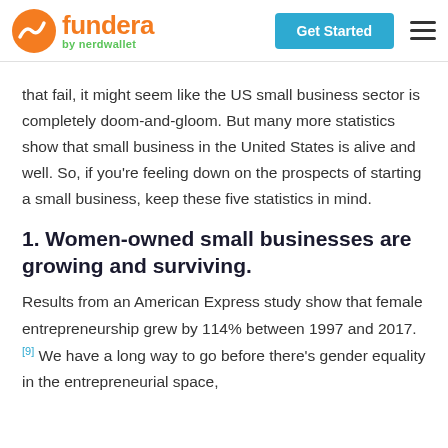fundera by nerdwallet | Get Started
that fail, it might seem like the US small business sector is completely doom-and-gloom. But many more statistics show that small business in the United States is alive and well. So, if you're feeling down on the prospects of starting a small business, keep these five statistics in mind.
1. Women-owned small businesses are growing and surviving.
Results from an American Express study show that female entrepreneurship grew by 114% between 1997 and 2017.[9] We have a long way to go before there's gender equality in the entrepreneurial space,